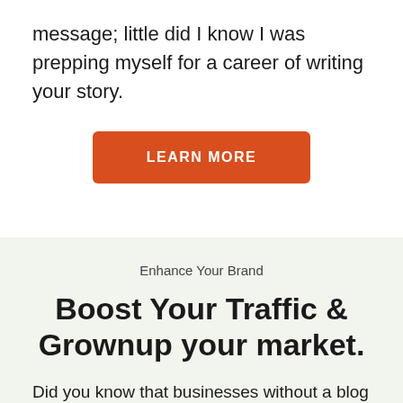message; little did I know I was prepping myself for a career of writing your story.
[Figure (other): Orange 'LEARN MORE' call-to-action button]
Enhance Your Brand
Boost Your Traffic & Grownup your market.
Did you know that businesses without a blog see